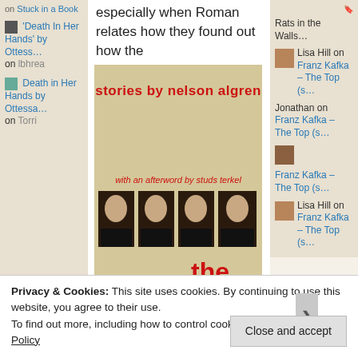especially when Roman relates how they found out how the
[Figure (illustration): Book cover of 'The Neon Wilderness' - stories by Nelson Algren, with an afterword by Studs Terkel. Beige/cream background with red bold title text and repeated photographic portraits of a man in black and white across the bottom.]
on Stuck in a Book
'Death In Her Hands' by Ottess… on lbhrea
Death in Her Hands by Ottessa… on Torri
Lisa Hill on Franz Kafka – The Top (s…
Jonathan on Franz Kafka – The Top (s…
Lisa Hill on Franz Kafka – The Top (s…
Privacy & Cookies: This site uses cookies. By continuing to use this website, you agree to their use.
To find out more, including how to control cookies, see here: Cookie Policy
Close and accept